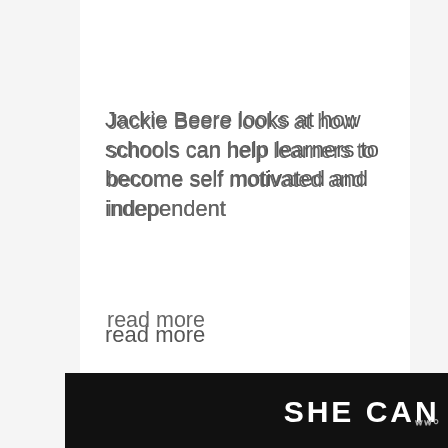Jackie Beere looks at how schools can help learners to become self motivated and independent
read more
Lorraine Barber, a numeracy adviser from Worcestershire, explains the importance of effective and exciting maths teaching read more
Pedagogy is back on the agenda after
[Figure (other): Dark banner advertisement with white bold text reading 'SHE CAN STEM' and a logo mark on the right]